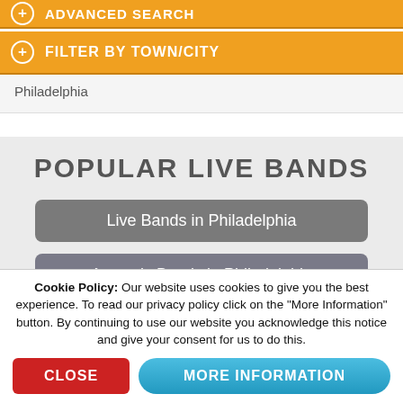ADVANCED SEARCH
FILTER BY TOWN/CITY
Philadelphia
POPULAR LIVE BANDS
Live Bands in Philadelphia
Acoustic Bands in Philadelphia
Cookie Policy: Our website uses cookies to give you the best experience. To read our privacy policy click on the "More Information" button. By continuing to use our website you acknowledge this notice and give your consent for us to do this.
CLOSE
MORE INFORMATION